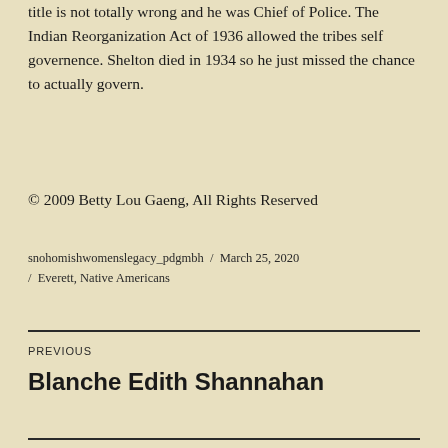title is not totally wrong and he was Chief of Police. The Indian Reorganization Act of 1936 allowed the tribes self governence. Shelton died in 1934 so he just missed the chance to actually govern.
© 2009 Betty Lou Gaeng, All Rights Reserved
snohomishwomenslegacy_pdgmbh / March 25, 2020 / Everett, Native Americans
PREVIOUS
Blanche Edith Shannahan